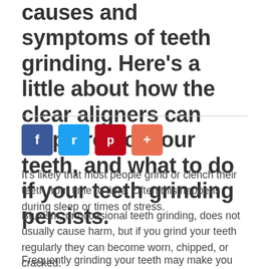causes and symptoms of teeth grinding. Here's a little about how the clear aligners can help protect your teeth, and what to do if your teeth grinding persists.
[Figure (other): Social sharing buttons: Facebook (dark blue), Twitter (light blue), Pinterest (red), Plus/Share (orange-red)]
It's likely that most people grind or clench their teeth from time to time. Often this happens during sleep or times of stress.
Bruxism, or occasional teeth grinding, does not usually cause harm, but if you grind your teeth regularly they can become worn, chipped, or cracked.
Frequently grinding your teeth may make you more vulnerable to the common jaw disorder known as TMD.